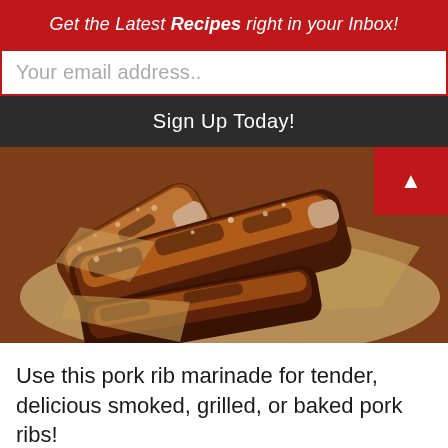Get the Latest Recipes right in your Inbox!
Your email address..
Sign Up Today!
[Figure (photo): Close-up photo of smoked pork ribs on brown parchment paper, with caramelized bark and seasoning visible]
Use this pork rib marinade for tender, delicious smoked, grilled, or baked pork ribs!
June 14, 2019